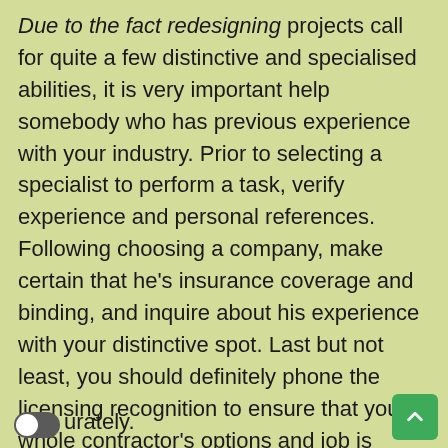Due to the fact redesigning projects call for quite a few distinctive and specialised abilities, it is very important help somebody who has previous experience with your industry. Prior to selecting a specialist to perform a task, verify experience and personal references. Following choosing a company, make certain that he's insurance coverage and binding, and inquire about his experience with your distinctive spot. Last but not least, you should definitely phone the licensing recognition to ensure that your whole contractor's options and job is authorized. House owners, when you use a property progress company or subcontractor, really should question lots of concerns as well as have confidence in how the qualified will tackle all aspects of the job accurately.